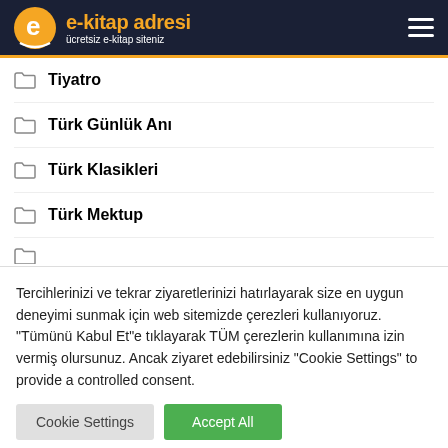e-kitap adresi — ücretsiz e-kitap siteniz
Tiyatro
Türk Günlük Anı
Türk Klasikleri
Türk Mektup
Tercihlerinizi ve tekrar ziyaretlerinizi hatırlayarak size en uygun deneyimi sunmak için web sitemizde çerezleri kullanıyoruz. "Tümünü Kabul Et"e tıklayarak TÜM çerezlerin kullanımına izin vermiş olursunuz. Ancak ziyaret edebilirsiniz "Cookie Settings" to provide a controlled consent.
Cookie Settings | Accept All